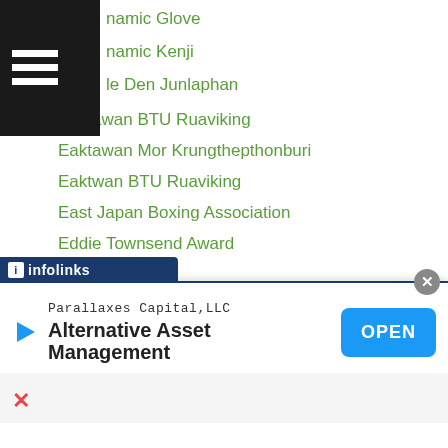namic Glove | namic Kenji | le Den Junlaphan
Eaktawan BTU Ruaviking
Eaktawan Mor Krungthepthonburi
Eaktwan BTU Ruaviking
East Japan Boxing Association
Eddie Townsend Award
Eden Sonsona
Edgar Alejandro Lomeli
Edgar Sosa
Edison Berwela
Edrin-dapudong
Eduardo Mancito
Eduard-troyanovsky
Edward Heno
[Figure (screenshot): infolinks advertisement bar and Parallaxes Capital LLC Alternative Asset Management banner ad with OPEN button]